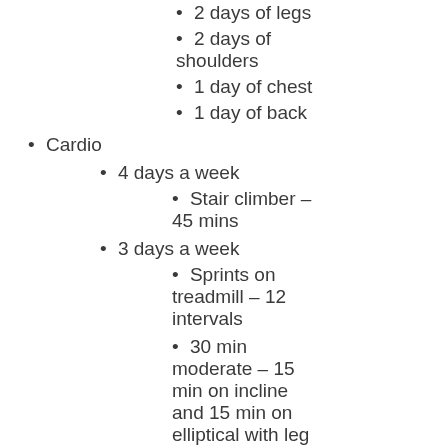2 days of legs
2 days of shoulders
1 day of chest
1 day of back
Cardio
4 days a week
Stair climber – 45 mins
3 days a week
Sprints on treadmill – 12 intervals
30 min moderate – 15 min on incline and 15 min on elliptical with leg